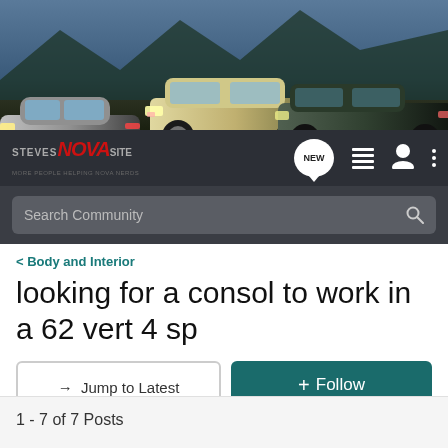[Figure (photo): Website banner showing three classic cars (Chevrolet Nova models) parked on a road with mountains in the background]
[Figure (screenshot): Navigation bar with Steves Nova Site logo, NEW chat bubble icon, list icon, user icon, and three-dot menu icon]
[Figure (screenshot): Search bar labeled 'Search Community' with magnifying glass icon on dark background]
< Body and Interior
looking for a consol to work in a 62 vert 4 sp
→ Jump to Latest
+ Follow
1 - 7 of 7 Posts